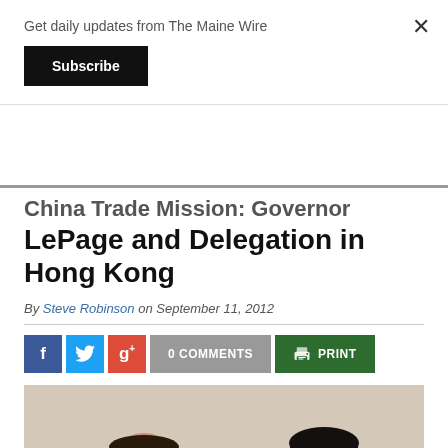Get daily updates from The Maine Wire
Subscribe
China Trade Mission: Governor LePage and Delegation in Hong Kong
By Steve Robinson on September 11, 2012
0 COMMENTS
PRINT
[Figure (photo): Two men smiling, photographed together in an office or meeting room setting. The man on the left is older, heavier-set, wearing a dark suit. The man on the right is Asian, wearing glasses and a dark suit.]